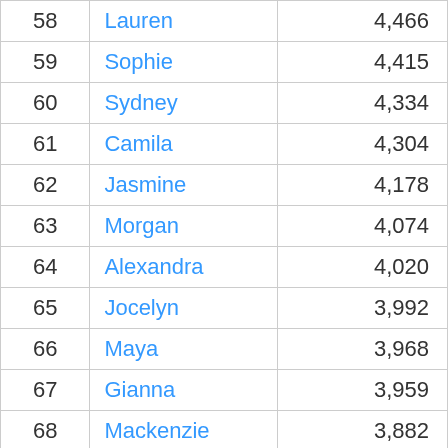| Rank | Name | Count |
| --- | --- | --- |
| 58 | Lauren | 4,466 |
| 59 | Sophie | 4,415 |
| 60 | Sydney | 4,334 |
| 61 | Camila | 4,304 |
| 62 | Jasmine | 4,178 |
| 63 | Morgan | 4,074 |
| 64 | Alexandra | 4,020 |
| 65 | Jocelyn | 3,992 |
| 66 | Maya | 3,968 |
| 67 | Gianna | 3,959 |
| 68 | Mackenzie | 3,882 |